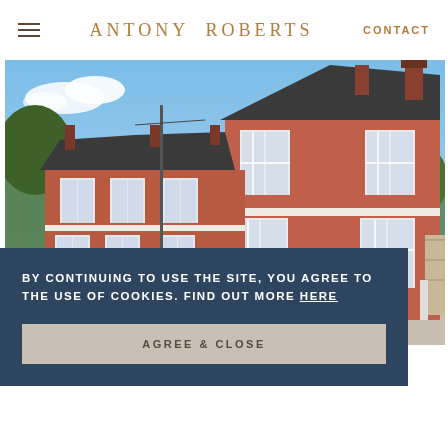ANTONY ROBERTS  CONTACT
[Figure (photo): Exterior photo of a Victorian red-brick terraced property with bay windows, steep roofline with decorative gables, and chimneys. Blue sky with light clouds. Street view showing a row of similar properties receding into the distance.]
BY CONTINUING TO USE THE SITE, YOU AGREE TO THE USE OF COOKIES. FIND OUT MORE HERE
AGREE & CLOSE